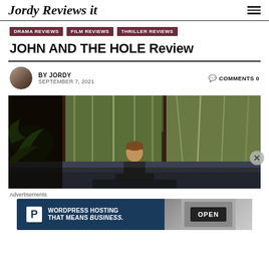Jordy Reviews It
DRAMA REVIEWS | FILM REVIEWS | THRILLER REVIEWS
JOHN AND THE HOLE Review
BY JORDY  SEPTEMBER 7, 2021  COMMENTS 0
[Figure (photo): A boy sitting alone on a couch in a modern house with large floor-to-ceiling windows overlooking a forest. The scene is dark and moody.]
Advertisements
[Figure (infographic): WordPress Hosting advertisement banner with P logo and text WORDPRESS HOSTING THAT MEANS BUSINESS. and an OPEN sign image on the right.]